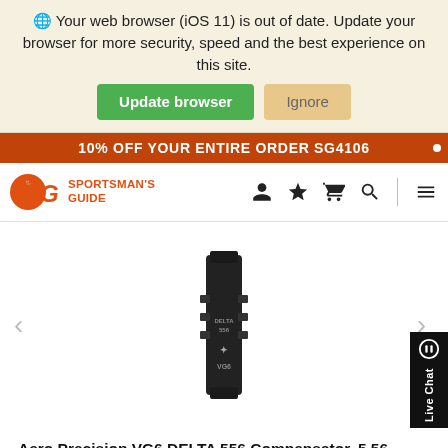🌐 Your web browser (iOS 11) is out of date. Update your browser for more security, speed and the best experience on this site.
Update browser   Ignore
10% OFF YOUR ENTIRE ORDER SG4106
[Figure (logo): Sportsman's Guide logo with SG letters and deer icon, orange color, with text SPORTSMAN'S GUIDE]
[Figure (photo): Aero Precision VG6 DELTA 556 Compensator, black metal muzzle device, shown on white background]
Aero Precision VG6 DELTA 556 Compensator, 5.56 NATO/.223